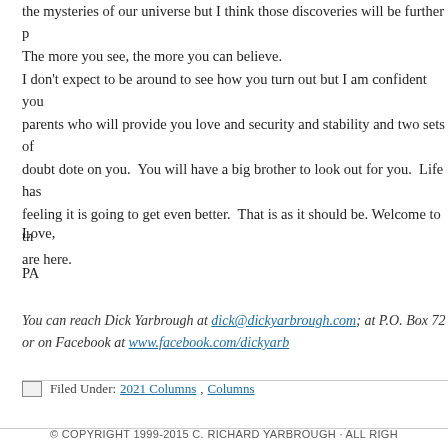the mysteries of our universe but I think those discoveries will be further p... The more you see, the more you can believe.
I don't expect to be around to see how you turn out but I am confident you... parents who will provide you love and security and stability and two sets of... doubt dote on you. You will have a big brother to look out for you. Life has... feeling it is going to get even better. That is as it should be. Welcome to th... are here.
Love,
PA
You can reach Dick Yarbrough at dick@dickyarbrough.com; at P.O. Box 72... or on Facebook at www.facebook.com/dickyarb
Filed Under: 2021 Columns, Columns
© COPYRIGHT 1999-2015 C. RICHARD YARBROUGH · ALL RIGH...